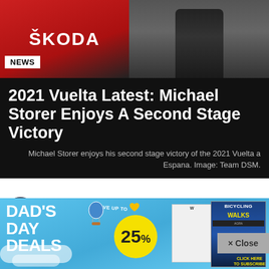[Figure (photo): Top banner with Skoda logo/car on left (red background) and cyclist legs with Scott bike on right (dark background)]
NEWS
2021 Vuelta Latest: Michael Storer Enjoys A Second Stage Victory
Michael Storer enjoys his second stage victory of the 2021 Vuelta a Espana. Image: Team DSM.
by Nat Bromhead 12 months ago  1.5k Views  196 Votes
[Figure (illustration): Dad's Day Deals advertisement banner with blue sky background, 25% savings circle, hot air balloon, and magazine covers including Bicycling and Walks magazines]